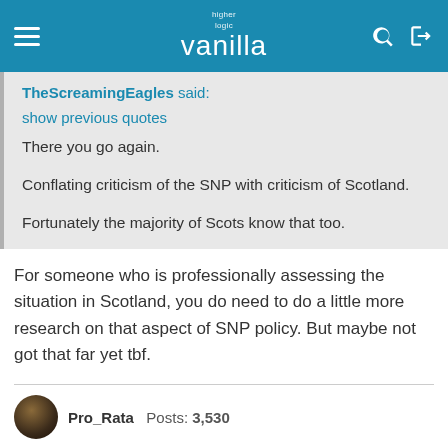higher logic vanilla (navigation bar)
TheScreamingEagles said:
show previous quotes
There you go again.

Conflating criticism of the SNP with criticism of Scotland.

Fortunately the majority of Scots know that too.
For someone who is professionally assessing the situation in Scotland, you do need to do a little more research on that aspect of SNP policy. But maybe not got that far yet tbf.
Pro_Rata  Posts: 3,530